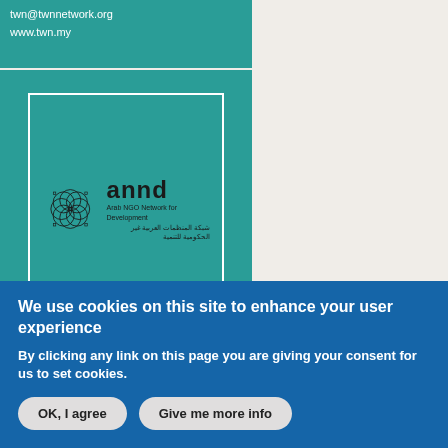twn@twnnetwork.org
www.twn.my
[Figure (logo): ANND (Arab NGO Network for Development) logo displayed on a teal background inside a white-bordered card. Features a circular flower-pattern emblem and text 'annd', 'Arab NGO Network for Development', and Arabic text below.]
We use cookies on this site to enhance your user experience
By clicking any link on this page you are giving your consent for us to set cookies.
OK, I agree
Give me more info